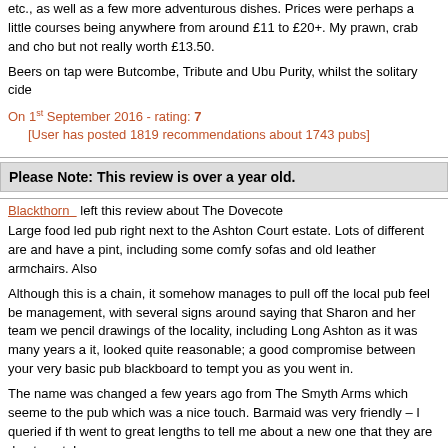etc., as well as a few more adventurous dishes. Prices were perhaps a little courses being anywhere from around £11 to £20+. My prawn, crab and cho but not really worth £13.50.
Beers on tap were Butcombe, Tribute and Ubu Purity, whilst the solitary cide
On 1st September 2016 - rating: 7
[User has posted 1819 recommendations about 1743 pubs]
Please Note: This review is over a year old.
Blackthorn   left this review about The Dovecote
Large food led pub right next to the Ashton Court estate. Lots of different are and have a pint, including some comfy sofas and old leather armchairs. Also
Although this is a chain, it somehow manages to pull off the local pub feel be management, with several signs around saying that Sharon and her team we pencil drawings of the locality, including Long Ashton as it was many years a it, looked quite reasonable; a good compromise between your very basic pub blackboard to tempt you as you went in.
The name was changed a few years ago from The Smyth Arms which seeme to the pub which was a nice touch. Barmaid was very friendly – I queried if th went to great lengths to tell me about a new one that they are due to get. Lo
Beers on this occasion were Brain's Rev. James, Tribute and Butcombe. A n any evidence of this on the bar. The solitary cider was Blackthorn.
On 16th May 2010 - rating: 7
[User has posted 1819 recommendations about 1743 pubs]